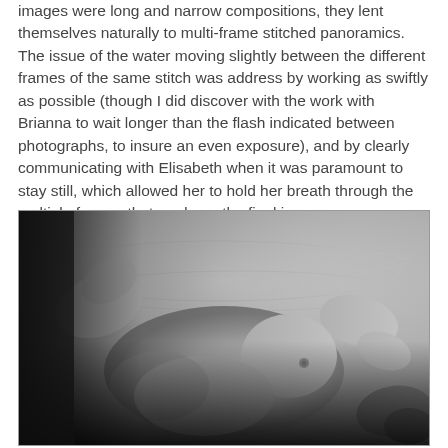images were long and narrow compositions, they lent themselves naturally to multi-frame stitched panoramics. The issue of the water moving slightly between the different frames of the same stitch was address by working as swiftly as possible (though I did discover with the work with Brianna to wait longer than the flash indicated between photographs, to insure an even exposure), and by clearly communicating with Elisabeth when it was paramount to stay still, which allowed her to hold her breath through the multiple frames that made up the final images.
[Figure (photo): Black and white photograph of a nude female figure lying on her back in water, shot from above. The image shows the torso and upper body with arms raised. The background shows rippled water texture in light grey tones.]